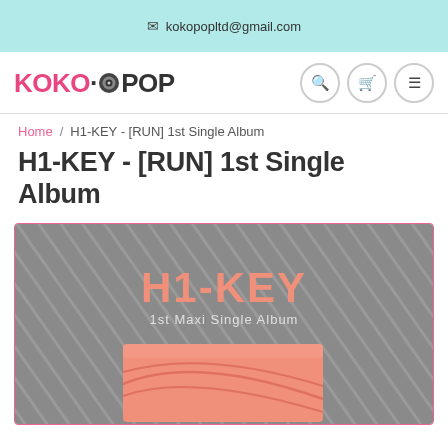✉ kokopopltd@gmail.com
[Figure (logo): KOKO·POP logo with pink KOKO text, dot, black POP text, and a disc icon between. Navigation icons for search, cart, and menu on the right.]
Home / H1-KEY - [RUN] 1st Single Album
H1-KEY - [RUN] 1st Single Album
[Figure (photo): H1-KEY 1st Maxi Single Album product photo showing an orange/salmon colored album box with curved line design on a gray diagonal-striped background. Text reads H1-KEY and 1st Maxi Single Album.]